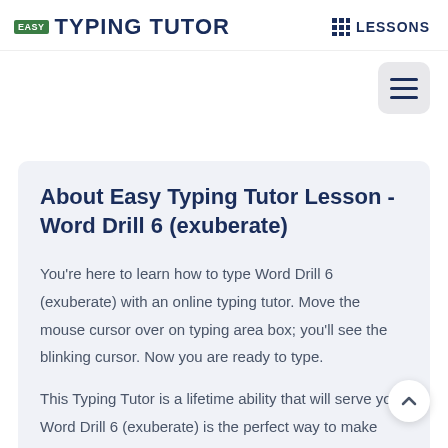EASY TYPING TUTOR | LESSONS
About Easy Typing Tutor Lesson - Word Drill 6 (exuberate)
You're here to learn how to type Word Drill 6 (exuberate) with an online typing tutor. Move the mouse cursor over on typing area box; you'll see the blinking cursor. Now you are ready to type.
This Typing Tutor is a lifetime ability that will serve you Word Drill 6 (exuberate) is the perfect way to make your machine more effective-type without